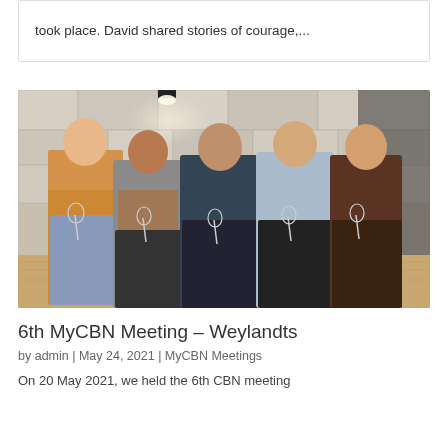took place. David shared stories of courage,...
[Figure (photo): Five men standing together holding wine glasses in front of a stone wall background, at what appears to be a restaurant or venue event.]
6th MyCBN Meeting – Weylandts
by admin | May 24, 2021 | MyCBN Meetings
On 20 May 2021, we held the 6th CBN meeting